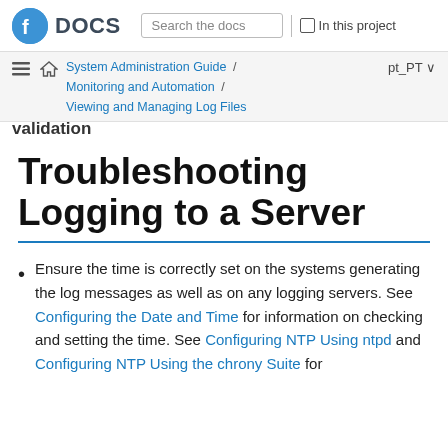Fedora DOCS | Search the docs | In this project
System Administration Guide / Monitoring and Automation / Viewing and Managing Log Files | pt_PT
Troubleshooting Logging to a Server
Ensure the time is correctly set on the systems generating the log messages as well as on any logging servers. See Configuring the Date and Time for information on checking and setting the time. See Configuring NTP Using ntpd and Configuring NTP Using the chrony Suite for